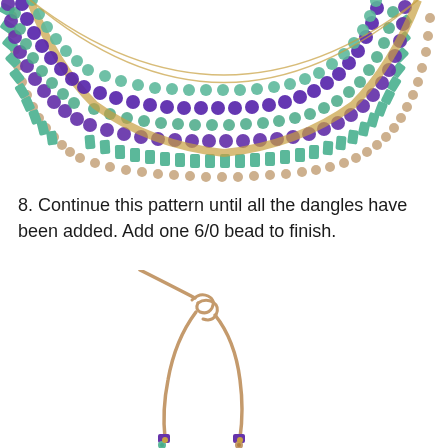[Figure (photo): Partial view of a beaded necklace with green, purple, and gold beads arranged in a curved collar pattern]
8. Continue this pattern until all the dangles have been added. Add one 6/0 bead to finish.
[Figure (photo): Illustration of earring wire components showing two curved wire hooks joined at the top with a coiled connector, with small beads at the bottom ends]